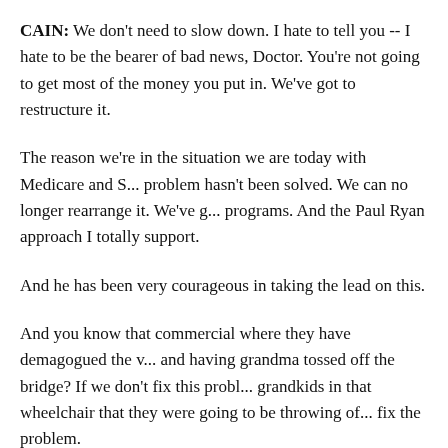CAIN: We don't need to slow down. I hate to tell you -- I hate to be the bearer of bad news, Doctor. You're not going to get most of the money you put in. We've got to restructure it.
The reason we're in the situation we are today with Medicare and Social Security is the problem hasn't been solved. We can no longer rearrange it. We've got to restructure these programs. And the Paul Ryan approach I totally support.
And he has been very courageous in taking the lead on this.
And you know that commercial where they have demagogued the whole issue of Medicare and having grandma tossed off the bridge? If we don't fix this problem, it's going to be the grandkids in that wheelchair that they were going to be throwing off the bridge, if we don't fix the problem.
KING: Let's continue the conversation on entitlements. I know Con